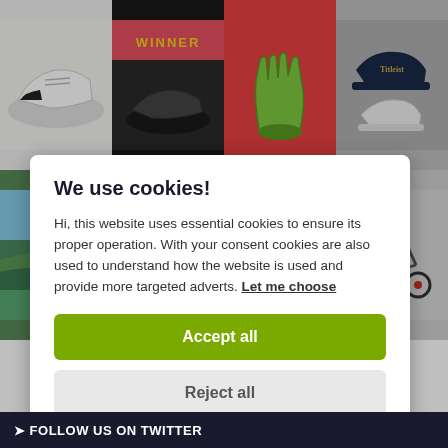[Figure (screenshot): Grid of 8 golf product images: white shoe, winner golf shoe ad, green golf glove, Titleist hats, grass scene, Titleist/Cobra logo (red background), golfer on green, golf trolley]
We use cookies!
Hi, this website uses essential cookies to ensure its proper operation. With your consent cookies are also used to understand how the website is used and provide more targeted adverts. Let me choose
Accept all
Reject all
FOLLOW US ON TWITTER